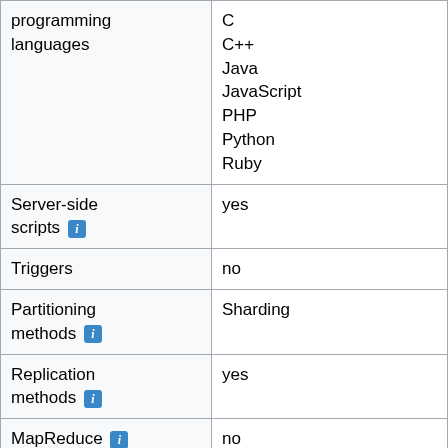| Feature | Value |
| --- | --- |
| programming languages | C
C++
Java
JavaScript
PHP
Python
Ruby |
| Server-side scripts [i] | yes |
| Triggers | no |
| Partitioning methods [i] | Sharding |
| Replication methods [i] | yes |
| MapReduce [i] | no |
| Consistency [i] | Immediate Consistency or Eventual Consistency depending... |